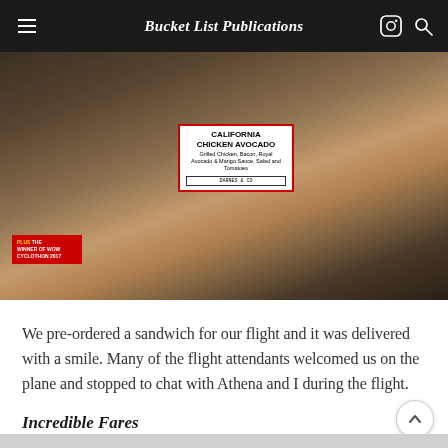Bucket List Publications
[Figure (photo): A packaged California Chicken Avocado sandwich baguette in plastic wrap, placed on top of a magazine showing a horse. The sandwich label reads: CALIFORNIA CHICKEN AVOCADO – Grilled Chicken, Bacon, Royal Avocado & Mango Sauce, Salad and Tomatoes. Brand label reads DARNES & CO. A red magazine insert in the corner reads: PLUS THE WINNER OF WOW CYCLOTHON 2017.]
We pre-ordered a sandwich for our flight and it was delivered with a smile. Many of the flight attendants welcomed us on the plane and stopped to chat with Athena and I during the flight.
Incredible Fares